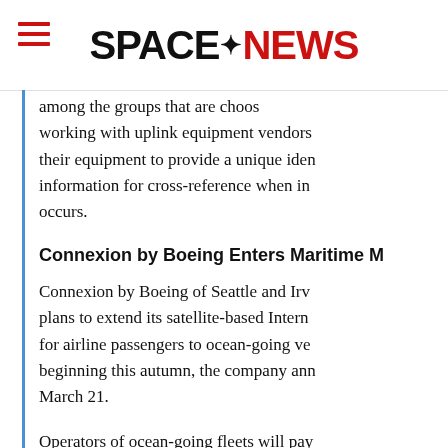SPACENEWS
among the groups that are working with uplink equipment vendors to modify their equipment to provide a unique identifier information for cross-reference when interference occurs.
Connexion by Boeing Enters Maritime M
Connexion by Boeing of Seattle and Irvine plans to extend its satellite-based Internet service for airline passengers to ocean-going vessels beginning this autumn, the company announced March 21.
Operators of ocean-going fleets will pay a fee of $2,800 to access the Connexion broadband service, which provides services such as